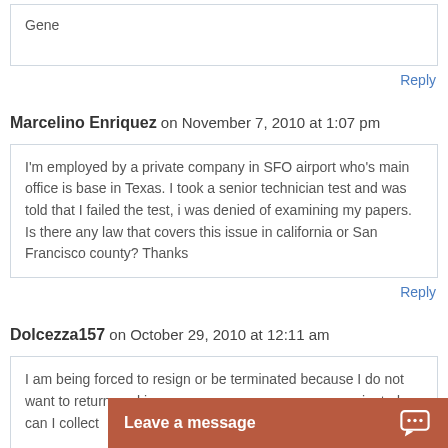Gene
Reply
Marcelino Enriquez on November 7, 2010 at 1:07 pm
I'm employed by a private company in SFO airport who's main office is base in Texas. I took a senior technician test and was told that I failed the test, i was denied of examining my papers. Is there any law that covers this issue in california or San Francisco county? Thanks
Reply
Dolcezza157 on October 29, 2010 at 12:11 am
I am being forced to resign or be terminated because I do not want to return worki... terminated can I collect...
Leave a message